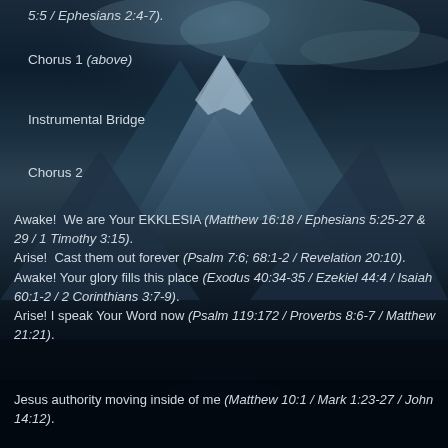5:5 / Ephesians 2:4-7).
Chorus 1 (above)
Instrumental Bridge
Chorus 2
Awake!  We are Your EKKLESIA (Matthew 16:18 / Ephesians 5:25-27 & 29 / 1 Timothy 3:15).
Arise!  Cast them out forever (Psalm 7:6; 68:1-2 / Revelation 20:10).
Awake! Your glory fills this place (Exodus 40:34-35 / Ezekiel 44:4 / Isaiah 60:1-2 / 2 Corinthians 3:7-9).
Arise! I speak Your Word now (Psalm 119:172 / Proverbs 8:6-7 / Matthew 21:21).
Jesus authority moving inside of me (Matthew 10:1 / Mark 1:23-27 / John 14:12).